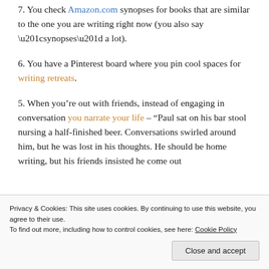7. You check Amazon.com synopses for books that are similar to the one you are writing right now (you also say “synopses” a lot).
6. You have a Pinterest board where you pin cool spaces for writing retreats.
5. When you’re out with friends, instead of engaging in conversation you narrate your life – “Paul sat on his bar stool nursing a half-finished beer. Conversations swirled around him, but he was lost in his thoughts. He should be home writing, but his friends insisted he come out
Privacy & Cookies: This site uses cookies. By continuing to use this website, you agree to their use.
To find out more, including how to control cookies, see here: Cookie Policy
Close and accept